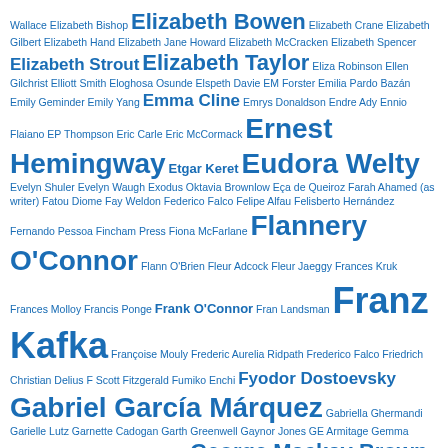Wallace Elizabeth Bishop Elizabeth Bowen Elizabeth Crane Elizabeth Gilbert Elizabeth Hand Elizabeth Jane Howard Elizabeth McCracken Elizabeth Spencer Elizabeth Strout Elizabeth Taylor Eliza Robinson Ellen Gilchrist Elliott Smith Eloghosa Osunde Elspeth Davie EM Forster Emilia Pardo Bazán Emily Geminder Emily Yang Emma Cline Emrys Donaldson Endre Ady Ennio Flaiano EP Thompson Eric Carle Eric McCormack Ernest Hemingway Etgar Keret Eudora Welty Evelyn Shuler Evelyn Waugh Exodus Oktavia Brownlow Eça de Queiroz Farah Ahamed (as writer) Fatou Diome Fay Weldon Federico Falco Felipe Alfau Felisberto Hernández Fernando Pessoa Fincham Press Fiona McFarlane Flannery O'Connor Flann O'Brien Fleur Adcock Fleur Jaeggy Frances Kruk Frances Molloy Francis Ponge Frank O'Connor Fran Landsman Franz Kafka Françoise Mouly Frederic Aurelia Ridpath Frederico Falco Friedrich Christian Delius F Scott Fitzgerald Fumiko Enchi Fyodor Dostoevsky Gabriel García Márquez Gabriella Ghermandi Garielle Lutz Garnette Cadogan Garth Greenwell Gaynor Jones GE Armitage Gemma Seltzer Geoff Dyer George Gascoigne George Mackay Brown George Orwell Georges-